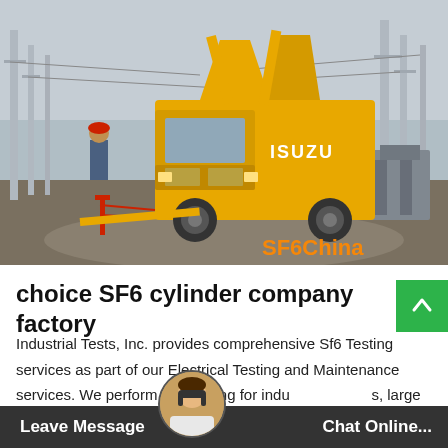[Figure (photo): Yellow Isuzu truck with equipment at an electrical substation. Workers visible near the truck. Red and white safety barriers on the ground. Power lines and transformers in background. SF6China watermark in orange at bottom right.]
choice SF6 cylinder company factory
Industrial Tests, Inc. provides comprehensive Sf6 Testing services as part of our Electrical Testing and Maintenance services. We perform Sf6 Testing for indus[trial facilities], large commercial facilities and[electrical power sub]stations[. We are a]vailable 2[4/7...]